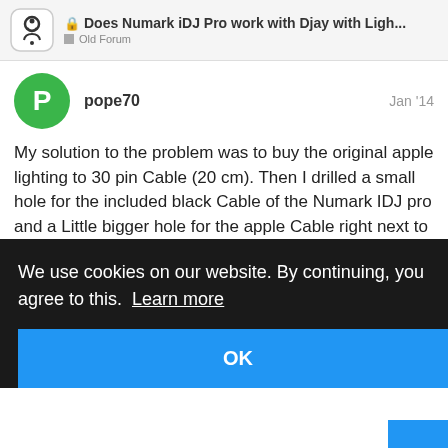Does Numark iDJ Pro work with Djay with Ligh... | Old Forum
pope70   Jan '14
My solution to the problem was to buy the original apple lighting to 30 pin Cable (20 cm). Then I drilled a small hole for the included black Cable of the Numark IDJ pro and a Little bigger hole for the apple Cable right next to where the ipad Connection should be, both holes are drilled in the lid that can be opened when you push in the grid. The Connection from the black to
We use cookies on our website. By continuing, you agree to this.  Learn more
OK